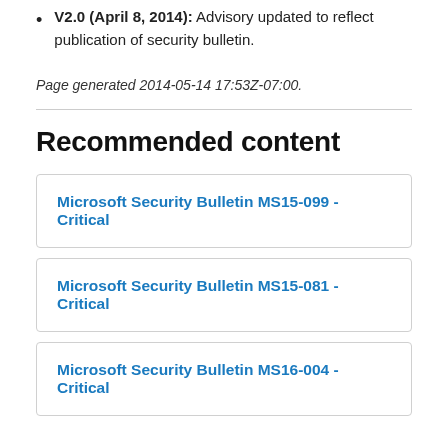V2.0 (April 8, 2014): Advisory updated to reflect publication of security bulletin.
Page generated 2014-05-14 17:53Z-07:00.
Recommended content
Microsoft Security Bulletin MS15-099 - Critical
Microsoft Security Bulletin MS15-081 - Critical
Microsoft Security Bulletin MS16-004 - Critical